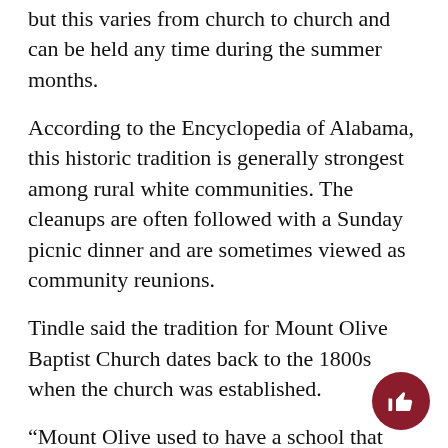but this varies from church to church and can be held any time during the summer months.
According to the Encyclopedia of Alabama, this historic tradition is generally strongest among rural white communities. The cleanups are often followed with a Sunday picnic dinner and are sometimes viewed as community reunions.
Tindle said the tradition for Mount Olive Baptist Church dates back to the 1800s when the church was established.
“Mount Olive used to have a school that was the school and church in that community,” he said. “A man donated land for them to have a cemetery, and that’s when the decoration came to be.”
Tindle said every now and then the church will ca for old-fashioned dress, where members can wear